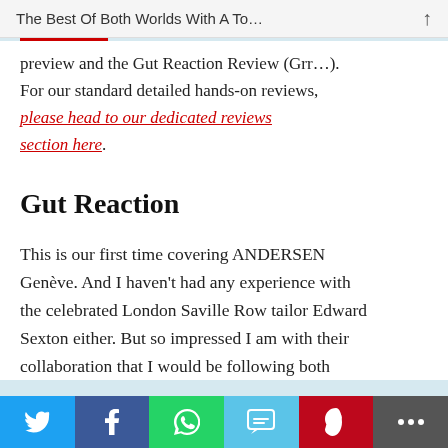The Best Of Both Worlds With A To…
preview and the Gut Reaction Review (Grr…). For our standard detailed hands-on reviews, please head to our dedicated reviews section here.
Gut Reaction
This is our first time covering ANDERSEN Genève. And I haven't had any experience with the celebrated London Saville Row tailor Edward Sexton either. But so impressed I am with their collaboration that I would be following both
Twitter | Facebook | WhatsApp | SMS | Pinterest | More